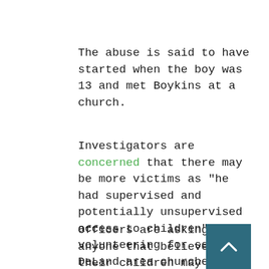The abuse is said to have started when the boy was 13 and met Boykins at a church.
Investigators are concerned that there may be more victims as "he had supervised and potentially unsupervised access to children" while volunteering for several DeLand area churches.  He is also said to have worked part time at Stetson University in the athletics department.
Officers are asking anyone that believes they their children may have been victimized to cal the Volusia Sheriff's Office Child Exploitation